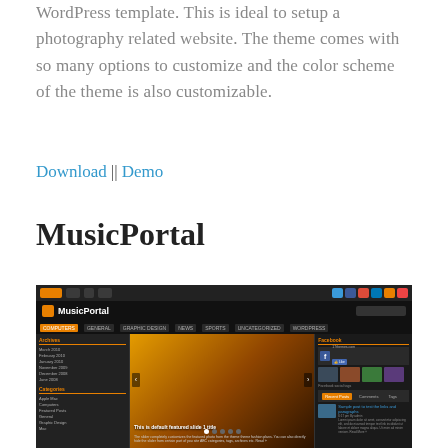WordPress template. This is ideal to setup a photography related website. The theme comes with so many options to customize and the color scheme of the theme is also customizable.
Download || Demo
MusicPortal
[Figure (screenshot): Screenshot of the MusicPortal WordPress theme showing a dark music-themed website with a concert photo slideshow, navigation menus, sidebar with archives and categories, and a Facebook widget on the right.]